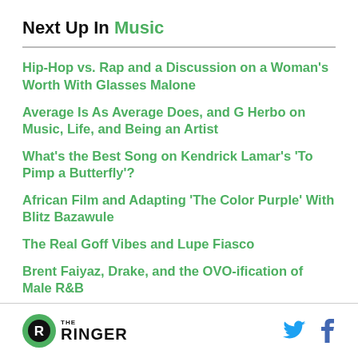Next Up In Music
Hip-Hop vs. Rap and a Discussion on a Woman's Worth With Glasses Malone
Average Is As Average Does, and G Herbo on Music, Life, and Being an Artist
What's the Best Song on Kendrick Lamar's 'To Pimp a Butterfly'?
African Film and Adapting 'The Color Purple' With Blitz Bazawule
The Real Goff Vibes and Lupe Fiasco
Brent Faiyaz, Drake, and the OVO-ification of Male R&B
The Ringer